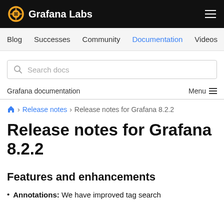Grafana Labs
Blog  Successes  Community  Documentation  Videos
Search docs
Grafana documentation   Menu
Home > Release notes > Release notes for Grafana 8.2.2
Release notes for Grafana 8.2.2
Features and enhancements
Annotations: We have improved tag search